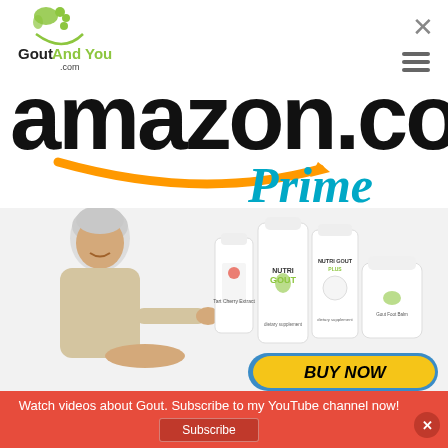[Figure (logo): GoutAndYou.com logo with green foot icon and site name]
[Figure (logo): Amazon.com Prime logo with large black amazon.com text and orange arrow, with blue italic Prime text]
[Figure (photo): Older smiling man pointing at supplement bottles including Tart Cherry Extract, NutriGout, NutriGout Plus, and Gout Foot Balm products, with a yellow BUY NOW button]
Watch videos about Gout. Subscribe to my YouTube channel now!
Subscribe